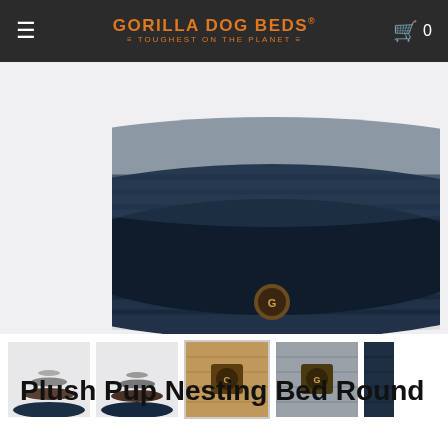GORILLA DOG BEDS® ≡ TOUGHEST ON THE PLANET ≡
[Figure (photo): Blue round nesting dog bed with ribbed bolster edge and embroidered logo badge, photographed on white background.]
[Figure (photo): Thumbnail 1: Stack of multiple round nesting dog beds in dark navy and brown, seen from front.]
[Figure (photo): Thumbnail 2: Stack of multiple round nesting dog beds in dark navy and brown, angled view.]
[Figure (photo): Thumbnail 3: Close-up of tan/beige fabric with Gorilla Dog Beds embroidered logo badge.]
[Figure (photo): Thumbnail 4: Close-up of grey fabric with Gorilla Dog Beds embroidered logo badge.]
[Figure (photo): Thumbnail 5: Partial view of dark blue fabric, cropped on right edge.]
Plush Pup Nesting Bed Round Replacement Cover